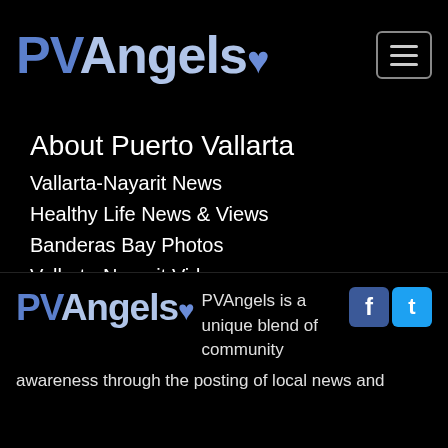PVAngels
About Puerto Vallarta
Vallarta-Nayarit News
Healthy Life News & Views
Banderas Bay Photos
Vallarta-Nayarit Videos
Historic Puerto Vallarta
Local Area Maps
Important Phone Numbers
Vallarta Consular Agencies
[Figure (logo): PVAngels logo in footer with Facebook and Twitter icons]
PVAngels is a unique blend of community awareness through the posting of local news and